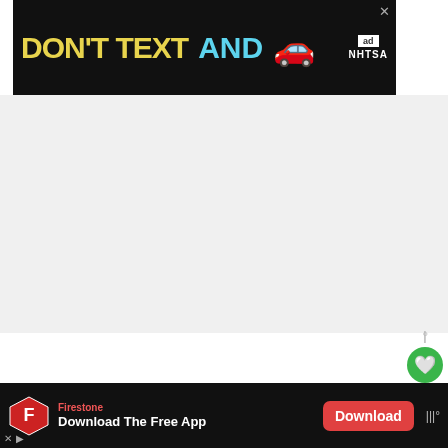[Figure (screenshot): Top banner advertisement: dark background with yellow bold text 'DON'T TEXT' and cyan bold text 'AND', a red car emoji, and 'ad NHTSA' badge. Close X button top right.]
[Figure (screenshot): Gray advertisement placeholder area below top banner.]
[Figure (infographic): Right sidebar social widget with fork icon, green heart button, number 3, and share button.]
This does not mean that you should feed your peacocks with just anything. When raising them as pets or farm birds, the first thing you should consider when feeding your peacocks is the nutrient (especially protein) requirements of the bi
[Figure (screenshot): What's Next widget showing 'Can Chickens Eat Peas?' with a green peas image.]
[Figure (screenshot): Bottom banner advertisement for Firestone: 'Download The Free App' with red Download button, shield logo, and ad close icons.]